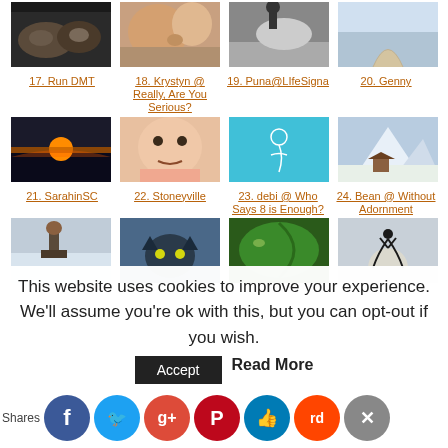[Figure (photo): Grid of thumbnail photos with links above them. Row 1: photos of animals/nature/people. Row 2 (links): 17. Run DMT, 18. Krystyn @ Really, Are You Serious?, 19. Puna@LifeSigna, 20. Genny. Row 2 (photos): sunset, baby making face, teal drawing, snowy mountain cabin. Row 3 (links): 21. SarahinSC, 22. Stoneyville, 23. debi @ Who Says 8 is Enough?, 24. Bean @ Without Adornment. Row 3 (photos): man in snow, Batman cat, green plant, silhouette.]
This website uses cookies to improve your experience. We'll assume you're ok with this, but you can opt-out if you wish.
Accept   Read More
Shares